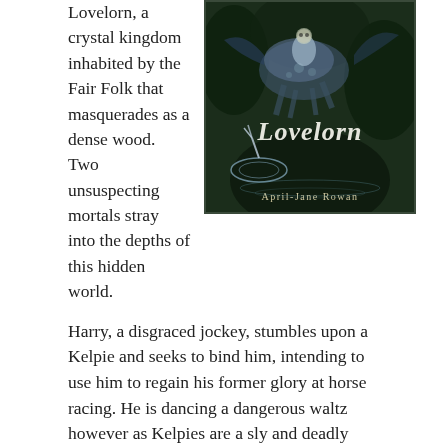Lovelorn, a crystal kingdom inhabited by the Fair Folk that masquerades as a dense wood. Two unsuspecting mortals stray into the depths of this hidden world.
[Figure (illustration): Book cover for 'Lovelorn' by April-Jane Rowan. Dark fantasy illustration showing a kelpie (horse creature) with riders and figures, with the title 'Lovelorn' in gothic lettering and author name 'April-Jane Rowan' at the bottom.]
Harry, a disgraced jockey, stumbles upon a Kelpie and seeks to bind him, intending to use him to regain his former glory at horse racing. He is dancing a dangerous waltz however as Kelpies are a sly and deadly folk, his actions bringing him steadily closer to a grave at the bottom of a lake.
Mabel, a grieving wife abandoned by her husband, searches for her young son, Peter, who was stolen by